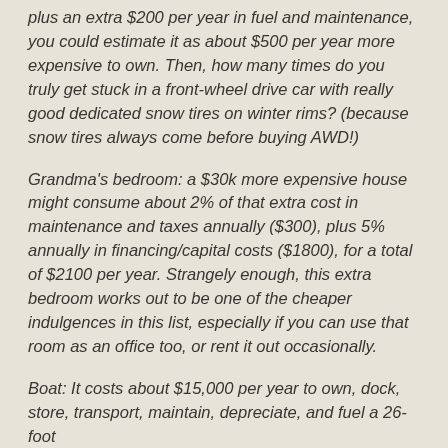plus an extra $200 per year in fuel and maintenance, you could estimate it as about $500 per year more expensive to own. Then, how many times do you truly get stuck in a front-wheel drive car with really good dedicated snow tires on winter rims? (because snow tires always come before buying AWD!)
Grandma's bedroom: a $30k more expensive house might consume about 2% of that extra cost in maintenance and taxes annually ($300), plus 5% annually in financing/capital costs ($1800), for a total of $2100 per year. Strangely enough, this extra bedroom works out to be one of the cheaper indulgences in this list, especially if you can use that room as an office too, or rent it out occasionally.
Boat: It costs about $15,000 per year to own, dock, store, transport, maintain, depreciate, and fuel a 26-foot